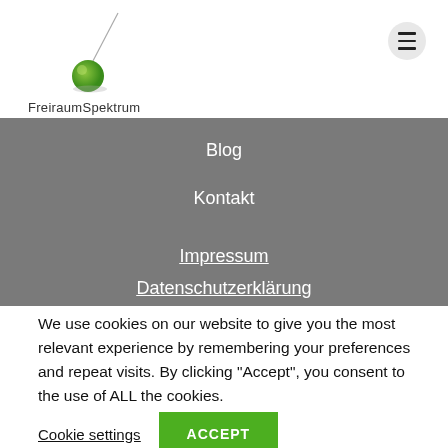[Figure (logo): FreiraumSpektrum logo with green circle and diagonal line above the brand name text]
FreiraumSpektrum
Blog
Kontakt
Impressum
Datenschutzerklärung
We use cookies on our website to give you the most relevant experience by remembering your preferences and repeat visits. By clicking “Accept”, you consent to the use of ALL the cookies.
Cookie settings
ACCEPT